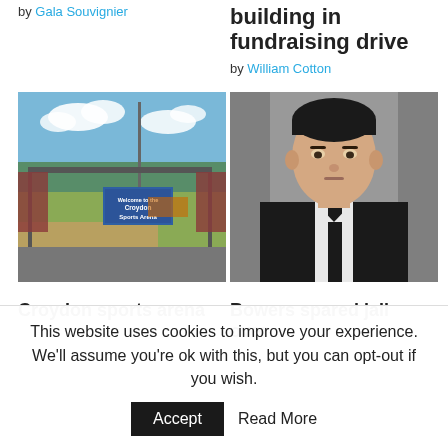by Gala Souvignier
building in fundraising drive
by William Cotton
[Figure (photo): Photo of Croydon Sports Arena entrance gate with sign, blue sky and clouds in background, grass in foreground]
[Figure (photo): Headshot of a young man in a black suit and tie against a grey background]
Croydon sports arena
Bowers spared jail over
This website uses cookies to improve your experience. We'll assume you're ok with this, but you can opt-out if you wish.
Accept
Read More